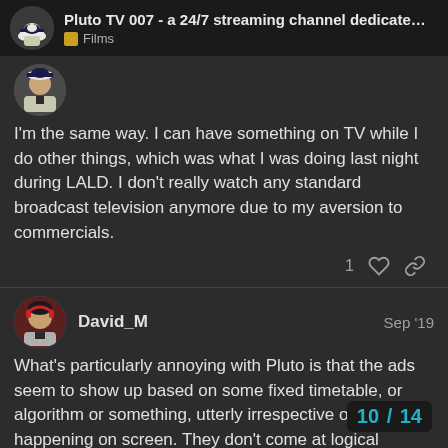Pluto TV 007 - a 24/7 streaming channel dedicate... | Films
[Figure (photo): User avatar for first post - illustration of a man in uniform]
I'm the same way. I can have something on TV while I do other things, which was what I was doing last night during LALD. I don't really watch any standard broadcast television anymore due to my aversion to commercials.
1 [like icon] [link icon]
[Figure (photo): User avatar for David_M - illustrated portrait]
David_M
Sep '19
What's particularly annoying with Pluto is that the ads seem to show up based on some fixed timetable, or algorithm or something, utterly irrespective of what's happening on screen. They don't come at logical junctions between scenes, but instead could arrive in the middle of a sentence of dialog, or in an action scene between a punch being th
landing on a jaw. The point being, I don't d
10 / 14